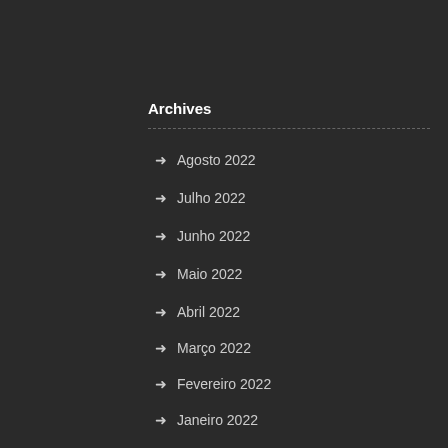Archives
Agosto 2022
Julho 2022
Junho 2022
Maio 2022
Abril 2022
Março 2022
Fevereiro 2022
Janeiro 2022
Dezembro 2021
Novembro 2021
Meta